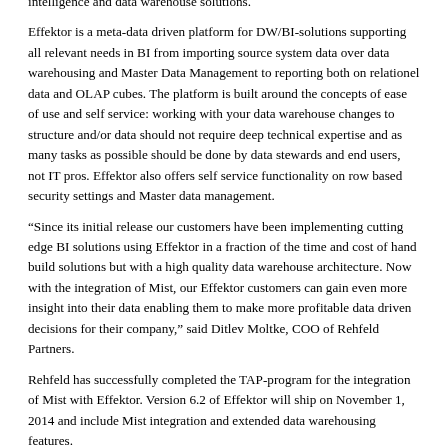intelligence and data warehouse solutions.
Effektor is a meta-data driven platform for DW/BI-solutions supporting all relevant needs in BI from importing source system data over data warehousing and Master Data Management to reporting both on relationel data and OLAP cubes. The platform is built around the concepts of ease of use and self service: working with your data warehouse changes to structure and/or data should not require deep technical expertise and as many tasks as possible should be done by data stewards and end users, not IT pros. Effektor also offers self service functionality on row based security settings and Master data management.
“Since its initial release our customers have been implementing cutting edge BI solutions using Effektor in a fraction of the time and cost of hand build solutions but with a high quality data warehouse architecture. Now with the integration of Mist, our Effektor customers can gain even more insight into their data enabling them to make more profitable data driven decisions for their company,” said Ditlev Moltke, COO of Rehfeld Partners.
Rehfeld has successfully completed the TAP-program for the integration of Mist with Effektor. Version 6.2 of Effektor will ship on November 1, 2014 and include Mist integration and extended data warehousing features.
For press inquiries, please contact media@varigence.com or media@rfeld.com. For customer inquiries, please contact